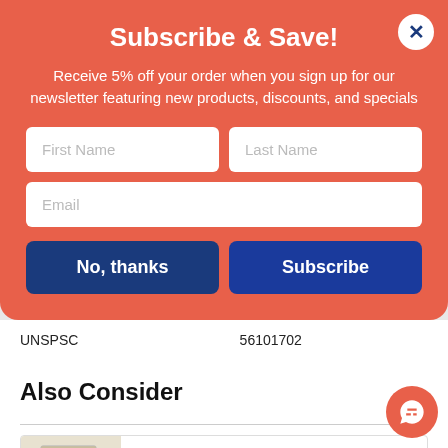Subscribe & Save!
Receive 5% off your order when you sign up for our newsletter featuring new products, discounts, and specials
|  |  |
| --- | --- |
| MPN | H512.P.P |
| UNSPSC | 56101702 |
Also Consider
510 Series Vertical File, 2 Legal-Size File Drawers, Putty, 18.25" x 25" x